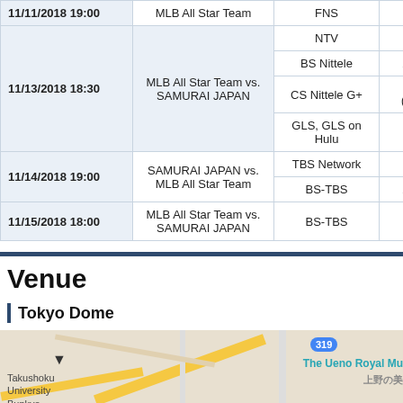| Date/Time | Match | Broadcaster | Time/Notes |
| --- | --- | --- | --- |
| 11/11/2018 19:00 | MLB All Star Team | FNS |  |
| 11/13/2018 18:30 | MLB All Star Team vs. SAMURAI JAPAN | NTV | 18: |
| 11/13/2018 18:30 | MLB All Star Team vs. SAMURAI JAPAN | BS Nittele | 20:54 - Un |
| 11/13/2018 18:30 | MLB All Star Team vs. SAMURAI JAPAN | CS Nittele G+ | 18: (Prolong un |
| 11/13/2018 18:30 | MLB All Star Team vs. SAMURAI JAPAN | GLS, GLS on Hulu | 18:15 - Un |
| 11/14/2018 19:00 | SAMURAI JAPAN vs. MLB All Star Team | TBS Network | 19: |
| 11/14/2018 19:00 | SAMURAI JAPAN vs. MLB All Star Team | BS-TBS | 21:57 - Un |
| 11/15/2018 18:00 | MLB All Star Team vs. SAMURAI JAPAN | BS-TBS | 18:00 - Un |
Venue
Tokyo Dome
[Figure (map): Map showing Tokyo Dome area including Takushoku University Bunkyo, road 319, and The Ueno Royal Museum]